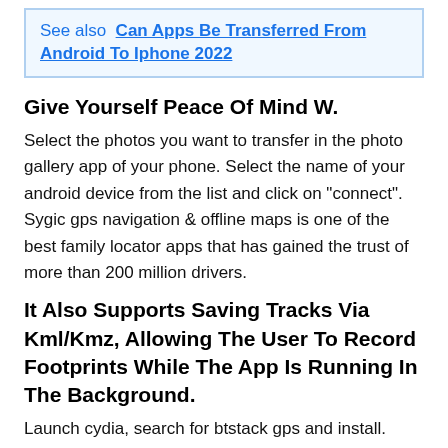See also  Can Apps Be Transferred From Android To Iphone 2022
Give Yourself Peace Of Mind W.
Select the photos you want to transfer in the photo gallery app of your phone. Select the name of your android device from the list and click on “connect”. Sygic gps navigation & offline maps is one of the best family locator apps that has gained the trust of more than 200 million drivers.
It Also Supports Saving Tracks Via Kml/Kmz, Allowing The User To Record Footprints While The App Is Running In The Background.
Launch cydia, search for btstack gps and install. Tethering is like